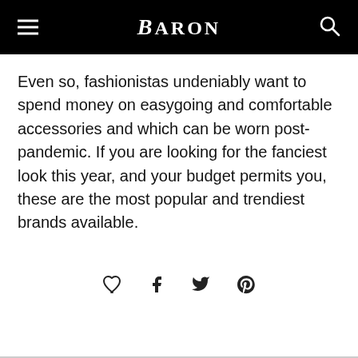BARON
Even so, fashionistas undeniably want to spend money on easygoing and comfortable accessories and which can be worn post-pandemic. If you are looking for the fanciest look this year, and your budget permits you, these are the most popular and trendiest brands available.